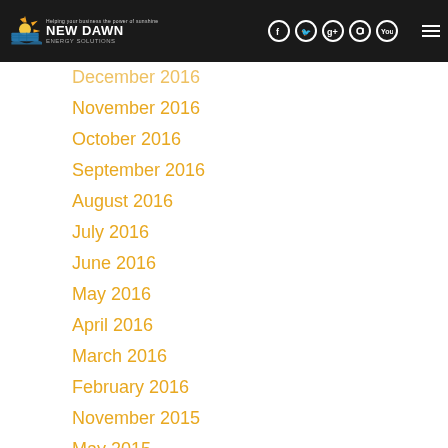New Dawn Energy Solutions — navigation header with social icons
December 2016
November 2016
October 2016
September 2016
August 2016
July 2016
June 2016
May 2016
April 2016
March 2016
February 2016
November 2015
May 2015